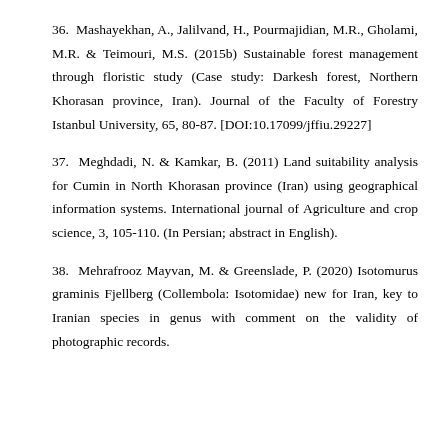36. Mashayekhan, A., Jalilvand, H., Pourmajidian, M.R., Gholami, M.R. & Teimouri, M.S. (2015b) Sustainable forest management through floristic study (Case study: Darkesh forest, Northern Khorasan province, Iran). Journal of the Faculty of Forestry Istanbul University, 65, 80-87. [DOI:10.17099/jffiu.29227]
37. Meghdadi, N. & Kamkar, B. (2011) Land suitability analysis for Cumin in North Khorasan province (Iran) using geographical information systems. International journal of Agriculture and crop science, 3, 105-110. (In Persian; abstract in English).
38. Mehrafrooz Mayvan, M. & Greenslade, P. (2020) Isotomurus graminis Fjellberg (Collembola: Isotomidae) new for Iran, key to Iranian species in genus with comment on the validity of photographic records.